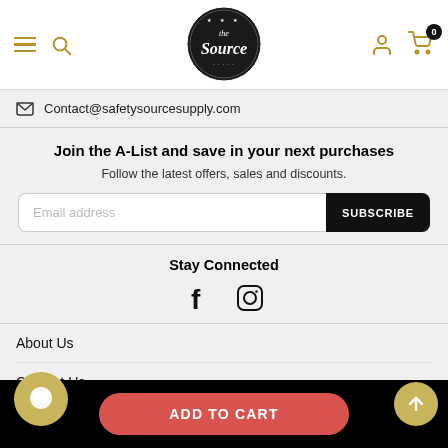[Figure (screenshot): Website header with hamburger menu, search icon, The Source logo, user icon, and cart icon with badge showing 0]
Contact@safetysourcesupply.com
Join the A-List and save in your next purchases
Follow the latest offers, sales and discounts.
Email address
SUBSCRIBE
Stay Connected
[Figure (illustration): Facebook and Instagram social media icons]
About Us
Contact Us
FAQS
Bra...
ADD TO CART